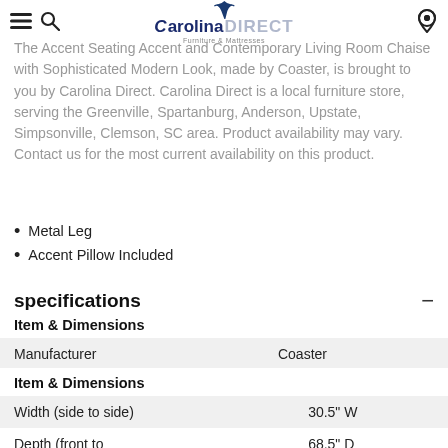Carolina Direct - Furniture & Mattresses
The Accent Seating Accent and Contemporary Living Room Chaise with Sophisticated Modern Look, made by Coaster, is brought to you by Carolina Direct. Carolina Direct is a local furniture store, serving the Greenville, Spartanburg, Anderson, Upstate, Simpsonville, Clemson, SC area. Product availability may vary. Contact us for the most current availability on this product.
Metal Leg
Accent Pillow Included
specifications
| Item & Dimensions |  |
| --- | --- |
| Manufacturer | Coaster |
| Item & Dimensions |  |
| --- | --- |
| Width (side to side) | 30.5" W |
| Depth (front to | 68.5" D |